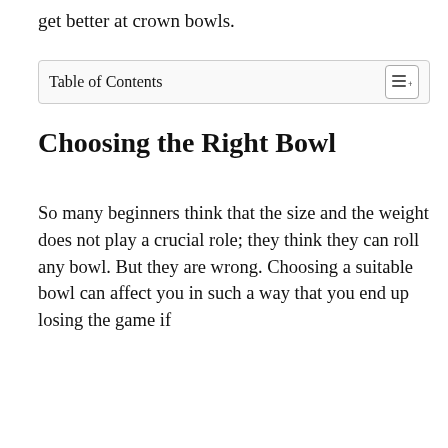get better at crown bowls.
Table of Contents
Choosing the Right Bowl
So many beginners think that the size and the weight does not play a crucial role; they think they can roll any bowl. But they are wrong. Choosing a suitable bowl can affect you in such a way that you end up losing the game if